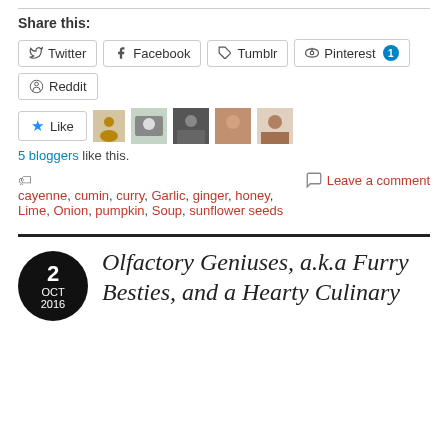Share this:
Twitter
Facebook
Tumblr
Pinterest 1
Reddit
5 bloggers like this.
cayenne, cumin, curry, Garlic, ginger, honey, Lime, Onion, pumpkin, Soup, sunflower seeds
Leave a comment
Olfactory Geniuses, a.k.a Furry Besties, and a Hearty Culinary